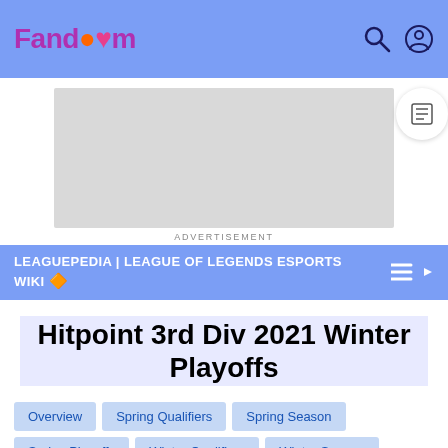Fandom
[Figure (other): Advertisement placeholder banner (gray rectangle)]
ADVERTISEMENT
LEAGUEPEDIA | LEAGUE OF LEGENDS ESPORTS WIKI 🔶
Hitpoint 3rd Div 2021 Winter Playoffs
Overview
Spring Qualifiers
Spring Season
Spring Playoffs
Winter Qualifiers
Winter Season
Winter Playoffs